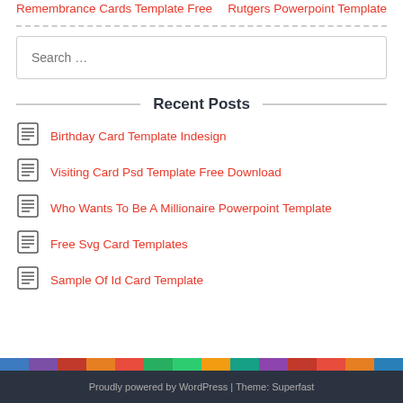Remembrance Cards Template Free
Rutgers Powerpoint Template
Search …
Recent Posts
Birthday Card Template Indesign
Visiting Card Psd Template Free Download
Who Wants To Be A Millionaire Powerpoint Template
Free Svg Card Templates
Sample Of Id Card Template
Proudly powered by WordPress | Theme: Superfast